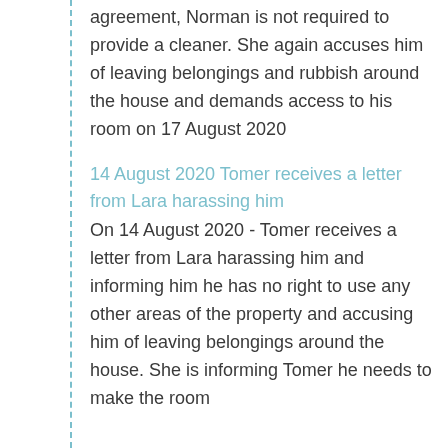agreement, Norman is not required to provide a cleaner. She again accuses him of leaving belongings and rubbish around the house and demands access to his room on 17 August 2020
14 August 2020 Tomer receives a letter from Lara harassing him
On 14 August 2020 - Tomer receives a letter from Lara harassing him and informing him he has no right to use any other areas of the property and accusing him of leaving belongings around the house. She is informing Tomer he needs to make the room